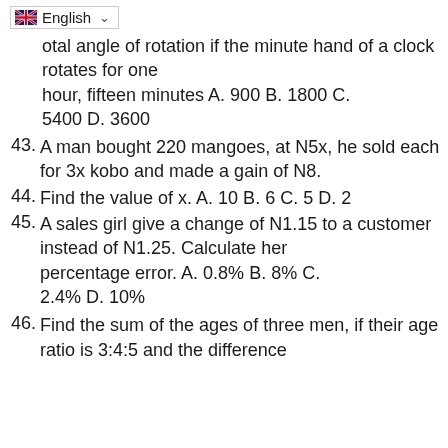[Figure (other): English language selector dropdown with UK flag]
total angle of rotation if the minute hand of a clock rotates for one hour, fifteen minutes A. 900 B. 1800 C. 5400 D. 3600
43. A man bought 220 mangoes, at N5x, he sold each for 3x kobo and made a gain of N8.
44. Find the value of x. A. 10 B. 6 C. 5 D. 2
45. A sales girl give a change of N1.15 to a customer instead of N1.25. Calculate her percentage error. A. 0.8% B. 8% C. 2.4% D. 10%
46. Find the sum of the ages of three men, if their age ratio is 3:4:5 and the difference between the youngest and the oldest...